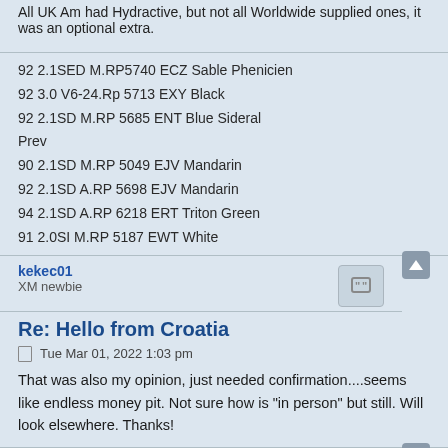All UK Am had Hydractive, but not all Worldwide supplied ones, it was an optional extra.
92 2.1SED M.RP5740 ECZ Sable Phenicien
92 3.0 V6-24.Rp 5713 EXY Black
92 2.1SD M.RP 5685 ENT Blue Sideral
Prev
90 2.1SD M.RP 5049 EJV Mandarin
92 2.1SD A.RP 5698 EJV Mandarin
94 2.1SD A.RP 6218 ERT Triton Green
91 2.0SI M.RP 5187 EWT White
kekec01
XM newbie
Re: Hello from Croatia
Tue Mar 01, 2022 1:03 pm
That was also my opinion, just needed confirmation....seems like endless money pit. Not sure how is "in person" but still. Will look elsewhere. Thanks!
10 posts • Page 1 of 1